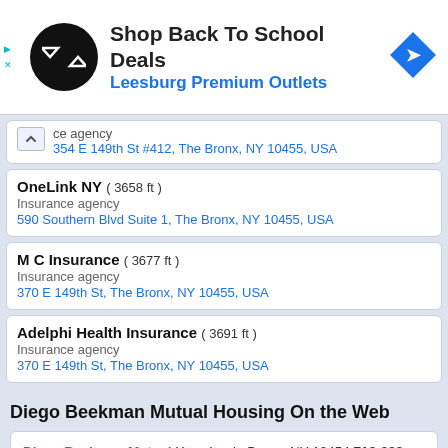[Figure (screenshot): Advertisement banner for Leesburg Premium Outlets - Shop Back To School Deals]
ce agency
354 E 149th St #412, The Bronx, NY 10455, USA
OneLink NY ( 3658 ft )
Insurance agency
590 Southern Blvd Suite 1, The Bronx, NY 10455, USA
M C Insurance ( 3677 ft )
Insurance agency
370 E 149th St, The Bronx, NY 10455, USA
Adelphi Health Insurance ( 3691 ft )
Insurance agency
370 E 149th St, The Bronx, NY 10455, USA
Diego Beekman Mutual Housing On the Web
Diego Beekman Mutual Housing in Bronx, NY 10454 718-292-